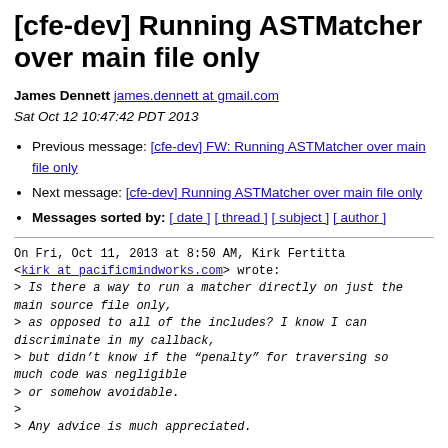[cfe-dev] Running ASTMatcher over main file only
James Dennett james.dennett at gmail.com
Sat Oct 12 10:47:42 PDT 2013
Previous message: [cfe-dev] FW: Running ASTMatcher over main file only
Next message: [cfe-dev] Running ASTMatcher over main file only
Messages sorted by: [ date ] [ thread ] [ subject ] [ author ]
On Fri, Oct 11, 2013 at 8:50 AM, Kirk Fertitta <kirk at pacificmindworks.com> wrote:
> Is there a way to run a matcher directly on just the main source file only,
> as opposed to all of the includes? I know I can discriminate in my callback,
> but didn’t know if the “penalty” for traversing so much code was negligible
> or somehow avoidable.
>
> Any advice is much appreciated.